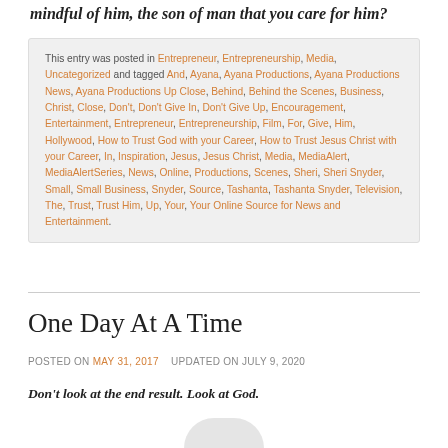mindful of him, the son of man that you care for him?
This entry was posted in Entrepreneur, Entrepreneurship, Media, Uncategorized and tagged And, Ayana, Ayana Productions, Ayana Productions News, Ayana Productions Up Close, Behind, Behind the Scenes, Business, Christ, Close, Don't, Don't Give In, Don't Give Up, Encouragement, Entertainment, Entrepreneur, Entrepreneurship, Film, For, Give, Him, Hollywood, How to Trust God with your Career, How to Trust Jesus Christ with your Career, In, Inspiration, Jesus, Jesus Christ, Media, MediaAlert, MediaAlertSeries, News, Online, Productions, Scenes, Sheri, Sheri Snyder, Small, Small Business, Snyder, Source, Tashanta, Tashanta Snyder, Television, The, Trust, Trust Him, Up, Your, Your Online Source for News and Entertainment.
One Day At A Time
POSTED ON MAY 31, 2017   UPDATED ON JULY 9, 2020
Don't look at the end result. Look at God.